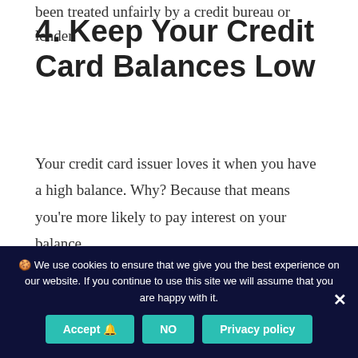been treated unfairly by a credit bureau or lender.
4. Keep Your Credit Card Balances Low
Your credit card issuer loves it when you have a high balance. Why? Because that means you're more likely to pay interest on your balance.
And the credit card companies make a lot of money from interest charges. So if you want to save
🍪 We use cookies to ensure that we give you the best experience on our website. If you continue to use this site we will assume that you are happy with it.